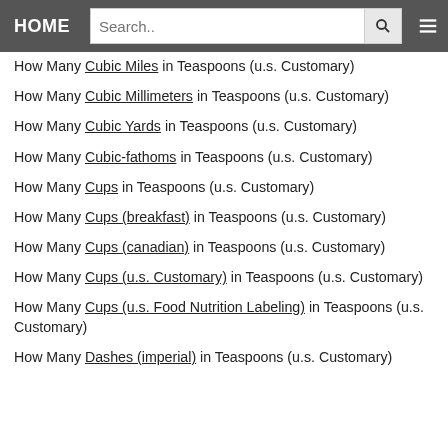HOME | Search.. [search button] [menu]
How Many Cubic Miles in Teaspoons (u.s. Customary)
How Many Cubic Millimeters in Teaspoons (u.s. Customary)
How Many Cubic Yards in Teaspoons (u.s. Customary)
How Many Cubic-fathoms in Teaspoons (u.s. Customary)
How Many Cups in Teaspoons (u.s. Customary)
How Many Cups (breakfast) in Teaspoons (u.s. Customary)
How Many Cups (canadian) in Teaspoons (u.s. Customary)
How Many Cups (u.s. Customary) in Teaspoons (u.s. Customary)
How Many Cups (u.s. Food Nutrition Labeling) in Teaspoons (u.s. Customary)
How Many Dashes (imperial) in Teaspoons (u.s. Customary)